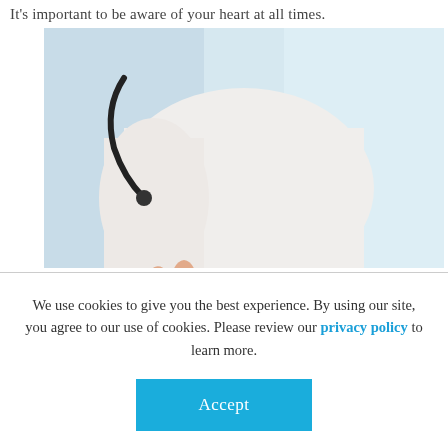It's important to be aware of your heart at all times.
[Figure (photo): A doctor in a white coat holding a small red heart model, with a stethoscope visible, against a light blue background.]
We use cookies to give you the best experience. By using our site, you agree to our use of cookies. Please review our privacy policy to learn more.
Accept